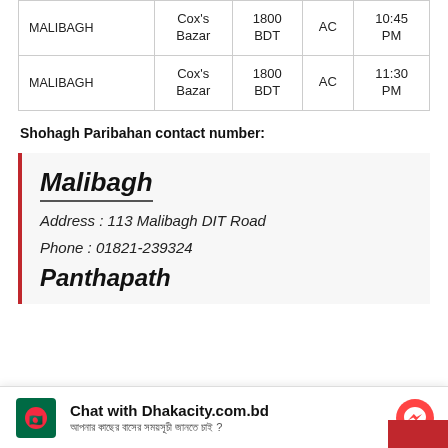| FROM | TO | FARE | TYPE | TIME |
| --- | --- | --- | --- | --- |
| MALIBAGH | Cox's Bazar | 1800 BDT | AC | 10:45 PM |
| MALIBAGH | Cox's Bazar | 1800 BDT | AC | 11:30 PM |
Shohagh Paribahan contact number:
Malibagh
Address : 113 Malibagh DIT Road
Phone : 01821-239324
Panthapath
Chat with Dhakacity.com.bd